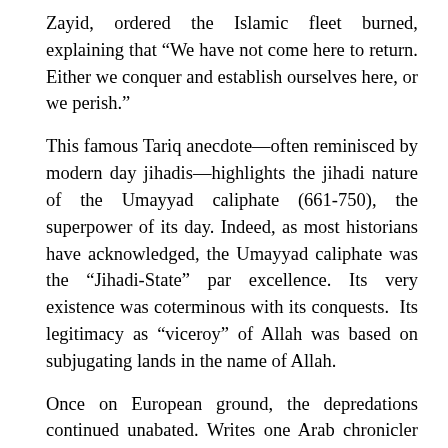Zayid, ordered the Islamic fleet burned, explaining that “We have not come here to return. Either we conquer and establish ourselves here, or we perish.”
This famous Tariq anecdote—often reminisced by modern day jihadis—highlights the jihadi nature of the Umayyad caliphate (661-750), the superpower of its day. Indeed, as most historians have acknowledged, the Umayyad caliphate was the “Jihadi-State” par excellence. Its very existence was coterminous with its conquests. Its legitimacy as “viceroy” of Allah was based on subjugating lands in the name of Allah.
Once on European ground, the depredations continued unabated. Writes one Arab chronicler regarding the Muslim northern advance past the Pyrenees: “Full of wrath and pride” the Muslims “went through all places like a desolating storm. Prosperity made those warriors insatiable… everything gave way to their scimitars, the robbers of lives.” Even far off